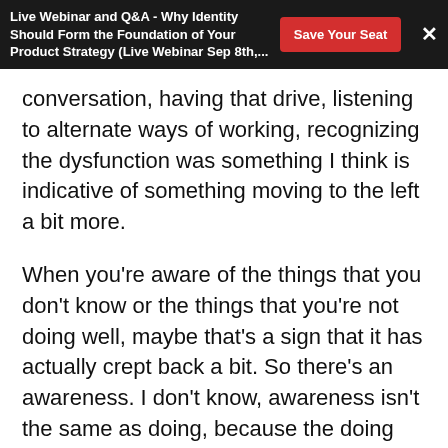Live Webinar and Q&A - Why Identity Should Form the Foundation of Your Product Strategy (Live Webinar Sep 8th,...
conversation, having that drive, listening to alternate ways of working, recognizing the dysfunction was something I think is indicative of something moving to the left a bit more.
When you're aware of the things that you don't know or the things that you're not doing well, maybe that's a sign that it has actually crept back a bit. So there's an awareness. I don't know, awareness isn't the same as doing, because the doing wasn't happening.
The lack of safety as a huge blocker to real culture shift [42:55]
Ron Lindorp: There is one big blocker that I still...